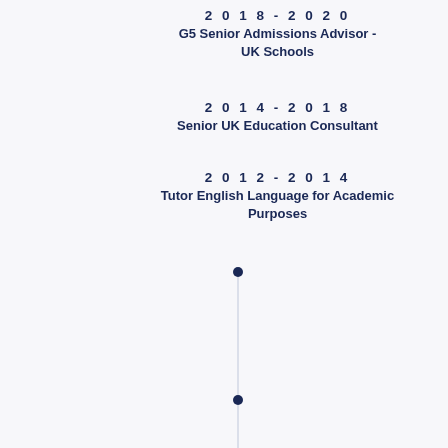2018-2020
G5 Senior Admissions Advisor - UK Schools
2014-2018
Senior UK Education Consultant
2012 - 2014
Tutor English Language for Academic Purposes
[Figure (infographic): Vertical timeline with two dark navy dots connected by a thin vertical line, representing a career timeline.]